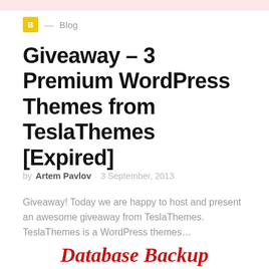B — Blog
Giveaway – 3 Premium WordPress Themes from TeslaThemes [Expired]
by Artem Pavlov · 3 September, 2013
Giveaway! Today we are happy to host and present an awesome giveaway from TeslaThemes.  TeslaThemes is a WordPress themes…
Database Backup